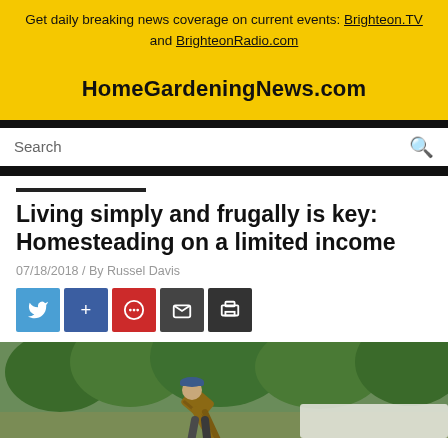Get daily breaking news coverage on current events: Brighteon.TV and BrighteonRadio.com
HomeGardeningNews.com
Search
Living simply and frugally is key: Homesteading on a limited income
07/18/2018 / By Russel Davis
[Figure (photo): Man in plaid shirt and blue cap bending over outdoors near green trees, working on homesteading activity]